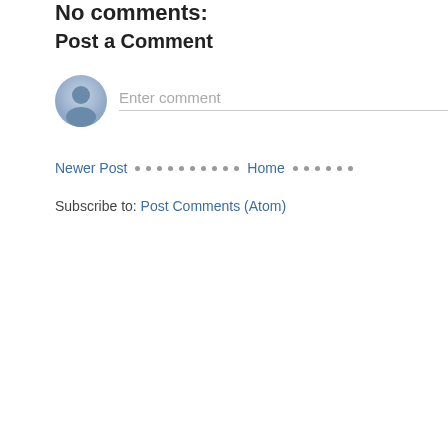No comments:
Post a Comment
[Figure (illustration): User avatar icon — a grey circular avatar with a person silhouette]
Enter comment
Newer Post · · · · · · · · · · Home · · · · · ·
Subscribe to: Post Comments (Atom)